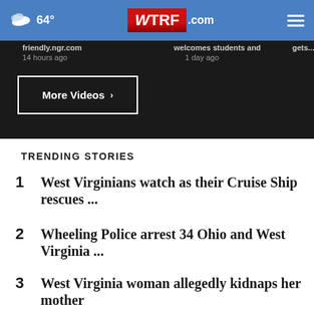64° WTRF.com
friendly.ngr.com   14 hours ago   welcomes students and   1 day ago   gets...
More Videos ›
TRENDING STORIES
1   West Virginians watch as their Cruise Ship rescues ...
2   Wheeling Police arrest 34 Ohio and West Virginia ...
3   West Virginia woman allegedly kidnaps her mother